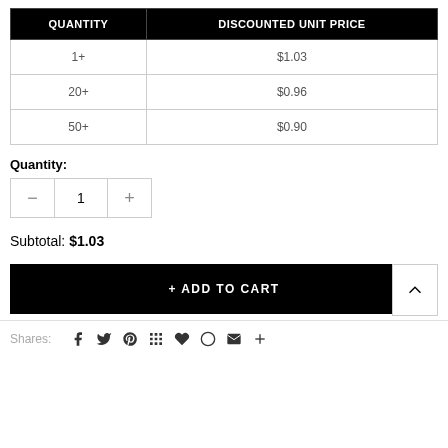| QUANTITY | DISCOUNTED UNIT PRICE |
| --- | --- |
| 1+ | $1.03 |
| 20+ | $0.96 |
| 50+ | $0.90 |
Quantity:
Subtotal: $1.03
+ ADD TO CART
Shares: